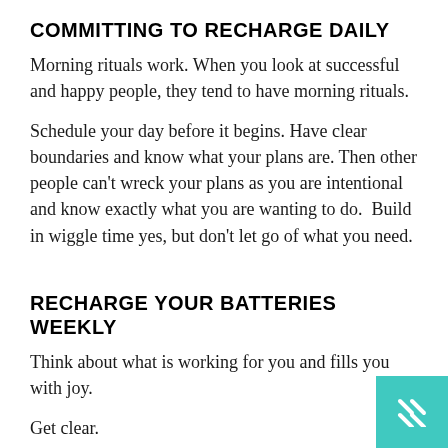COMMITTING TO RECHARGE DAILY
Morning rituals work. When you look at successful and happy people, they tend to have morning rituals.
Schedule your day before it begins. Have clear boundaries and know what your plans are. Then other people can't wreck your plans as you are intentional and know exactly what you are wanting to do.  Build in wiggle time yes, but don't let go of what you need.
RECHARGE YOUR BATTERIES WEEKLY
Think about what is working for you and fills you with joy.
Get clear.